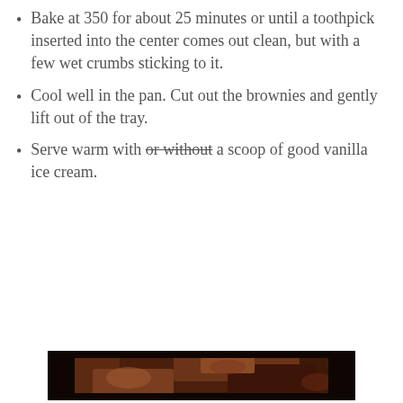Bake at 350 for about 25 minutes or until a toothpick inserted into the center comes out clean, but with a few wet crumbs sticking to it.
Cool well in the pan. Cut out the brownies and gently lift out of the tray.
Serve warm with or without a scoop of good vanilla ice cream.
[Figure (photo): Close-up photo of rich, fudgy chocolate brownies with a dark, glossy top, placed on white parchment paper.]